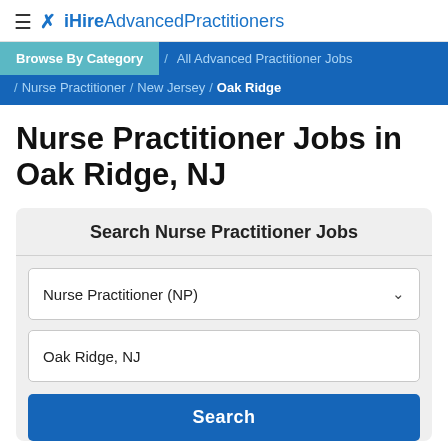iHireAdvancedPractitioners
Browse By Category / All Advanced Practitioner Jobs / Nurse Practitioner / New Jersey / Oak Ridge
Nurse Practitioner Jobs in Oak Ridge, NJ
Search Nurse Practitioner Jobs
Nurse Practitioner (NP)
Oak Ridge, NJ
Search